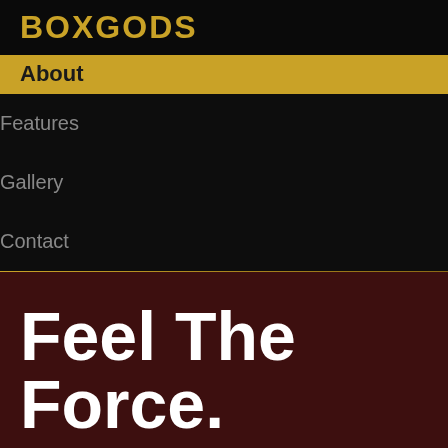BOXGODS
About
Features
Gallery
Contact
Feel The Force.